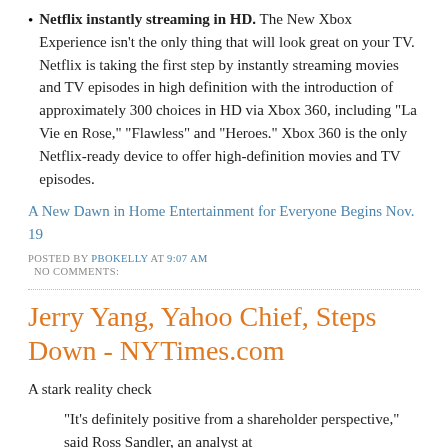Netflix instantly streaming in HD. The New Xbox Experience isn't the only thing that will look great on your TV. Netflix is taking the first step by instantly streaming movies and TV episodes in high definition with the introduction of approximately 300 choices in HD via Xbox 360, including “La Vie en Rose,” “Flawless” and “Heroes.” Xbox 360 is the only Netflix-ready device to offer high-definition movies and TV episodes.
A New Dawn in Home Entertainment for Everyone Begins Nov. 19
POSTED BY PBOKELLY AT 9:07 AM
NO COMMENTS:
Jerry Yang, Yahoo Chief, Steps Down - NYTimes.com
A stark reality check
“It’s definitely positive from a shareholder perspective,” said Ross Sandler, an analyst at